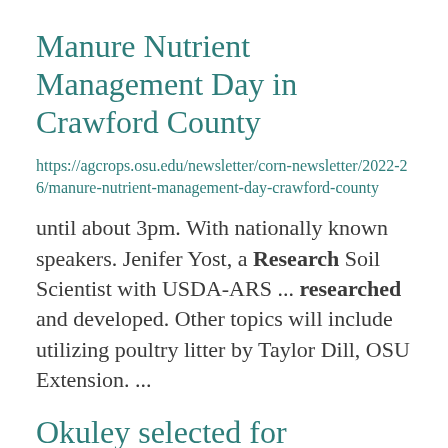Manure Nutrient Management Day in Crawford County
https://agcrops.osu.edu/newsletter/corn-newsletter/2022-26/manure-nutrient-management-day-crawford-county
until about 3pm. With nationally known speakers. Jenifer Yost, a Research Soil Scientist with USDA-ARS ... researched and developed. Other topics will include utilizing poultry litter by Taylor Dill, OSU Extension. ...
Okuley selected for scholarship, attends annual Ag Media Summit